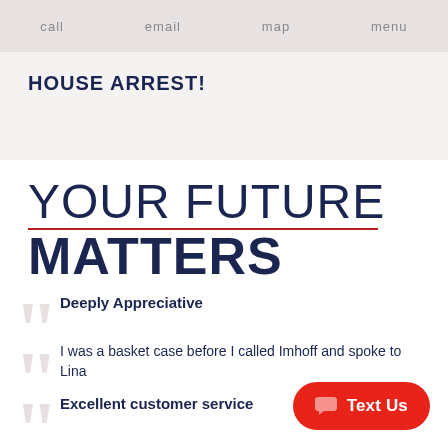call   email   map   menu
HOUSE ARREST!
YOUR FUTURE MATTERS
Deeply Appreciative
I was a basket case before I called Imhoff and spoke to Lina
Excellent customer service